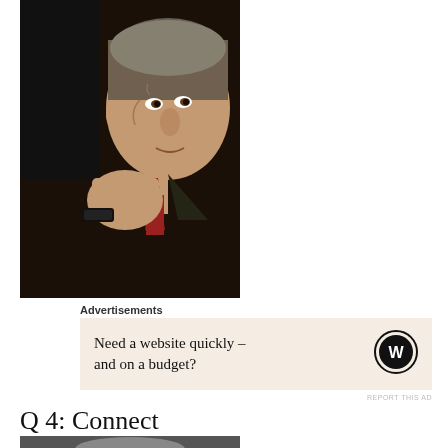[Figure (photo): Black and white photo of an older man in a dark suit with a red tie, resting his chin on his fist, wearing a watch]
Advertisements
[Figure (infographic): WordPress advertisement banner with text: Need a website quickly – and on a budget? with WordPress logo]
REPORT THIS AD
Q 4: Connect
[Figure (photo): Partial photo at bottom of page, dark toned]